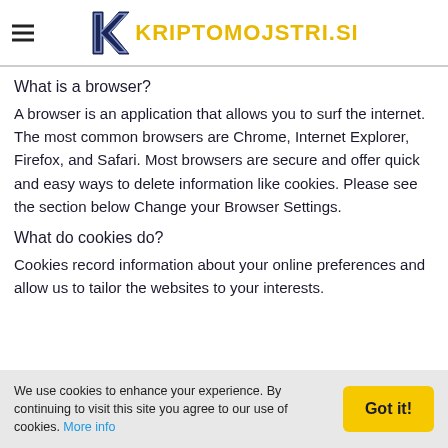KRIPTOMOJSTRI.SI
What is a browser?
A browser is an application that allows you to surf the internet. The most common browsers are Chrome, Internet Explorer, Firefox, and Safari. Most browsers are secure and offer quick and easy ways to delete information like cookies. Please see the section below Change your Browser Settings.
What do cookies do?
Cookies record information about your online preferences and allow us to tailor the websites to your interests.
We use cookies to enhance your experience. By continuing to visit this site you agree to our use of cookies. More info